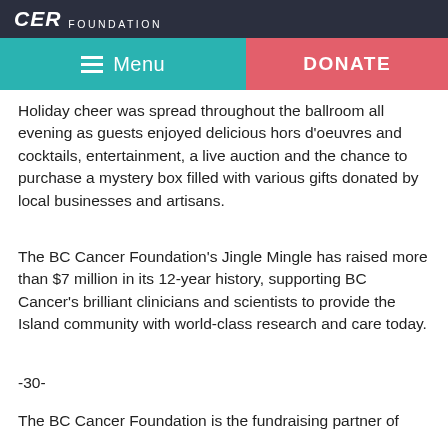CER FOUNDATION
Menu | DONATE
Holiday cheer was spread throughout the ballroom all evening as guests enjoyed delicious hors d'oeuvres and cocktails, entertainment, a live auction and the chance to purchase a mystery box filled with various gifts donated by local businesses and artisans.
The BC Cancer Foundation's Jingle Mingle has raised more than $7 million in its 12-year history, supporting BC Cancer's brilliant clinicians and scientists to provide the Island community with world-class research and care today.
-30-
The BC Cancer Foundation is the fundraising partner of